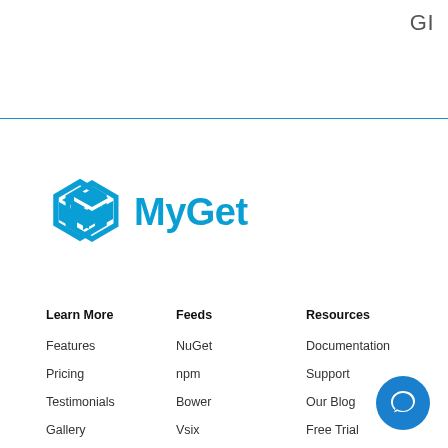GI
[Figure (logo): MyGet logo - blue hexagon icon with 'MyGet' text in blue]
Learn More
Feeds
Resources
Features
NuGet
Documentation
Pricing
npm
Support
Testimonials
Bower
Our Blog
Gallery
Vsix
Free Trial
Maven
Enterprise Trial